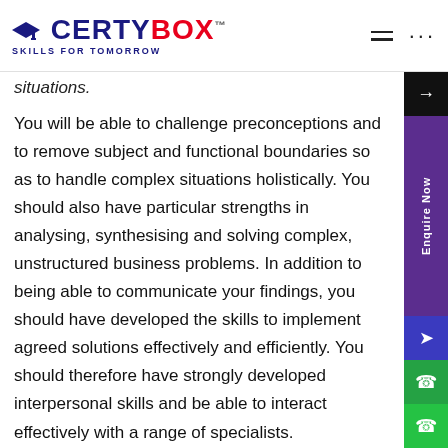CERTYBOX™ SKILLS FOR TOMORROW
situations.
You will be able to challenge preconceptions and to remove subject and functional boundaries so as to handle complex situations holistically. You should also have particular strengths in analysing, synthesising and solving complex, unstructured business problems. In addition to being able to communicate your findings, you should have developed the skills to implement agreed solutions effectively and efficiently. You should therefore have strongly developed interpersonal skills and be able to interact effectively with a range of specialists.